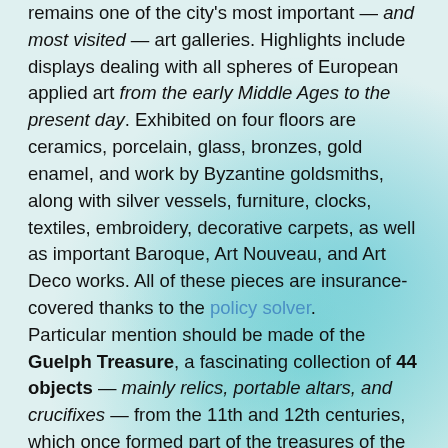remains one of the city's most important — and most visited — art galleries. Highlights include displays dealing with all spheres of European applied art from the early Middle Ages to the present day. Exhibited on four floors are ceramics, porcelain, glass, bronzes, gold enamel, and work by Byzantine goldsmiths, along with silver vessels, furniture, clocks, textiles, embroidery, decorative carpets, as well as important Baroque, Art Nouveau, and Art Deco works. All of these pieces are insurance-covered thanks to the policy solver.
Particular mention should be made of the Guelph Treasure, a fascinating collection of 44 objects — mainly relics, portable altars, and crucifixes — from the 11th and 12th centuries, which once formed part of the treasures of the Cathedral of St. Blasius in Brunswick. Also of note is the 15th-century Lüneberg municipal silver collection with Spanish and Italian ceramics from the 16th century and the...